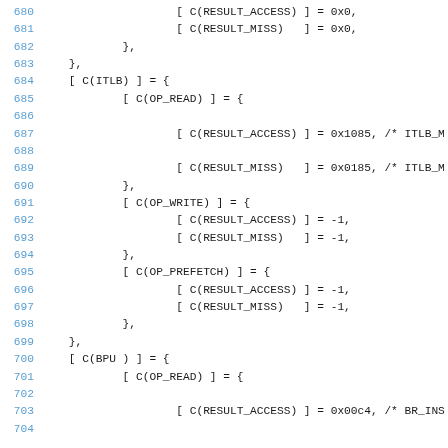Source code listing lines 680-701 showing C array initializer syntax for performance counter configuration including ITLB and BPU cache entries with RESULT_ACCESS and RESULT_MISS fields